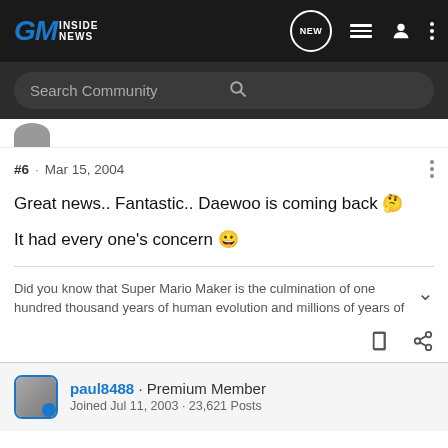GM Inside News
Search Community
#6 · Mar 15, 2004
Great news.. Fantastic.. Daewoo is coming back 🤔
It had every one's concern 😀
Did you know that Super Mario Maker is the culmination of one hundred thousand years of human evolution and millions of years of
paul8488 · Premium Member
Joined Jul 11, 2003 · 23,621 Posts